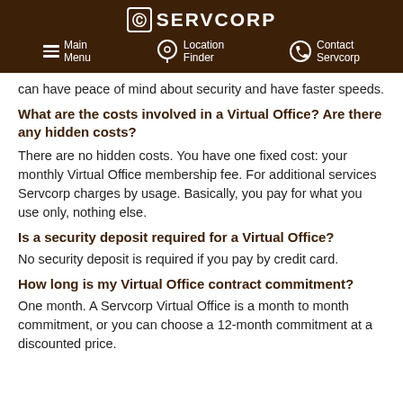SERVCORP | Main Menu | Location Finder | Contact Servcorp
can have peace of mind about security and have faster speeds.
What are the costs involved in a Virtual Office? Are there any hidden costs?
There are no hidden costs. You have one fixed cost: your monthly Virtual Office membership fee. For additional services Servcorp charges by usage. Basically, you pay for what you use only, nothing else.
Is a security deposit required for a Virtual Office?
No security deposit is required if you pay by credit card.
How long is my Virtual Office contract commitment?
One month. A Servcorp Virtual Office is a month to month commitment, or you can choose a 12-month commitment at a discounted price.